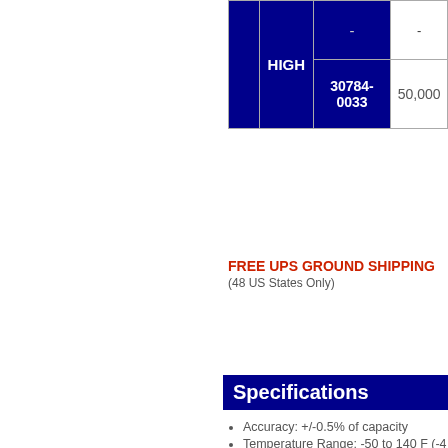|  |  | Part Number | Qty |
| --- | --- | --- | --- |
|  | HIGH | - | - |
|  |  | 30784-0033 | 50,000 |
FREE UPS GROUND SHIPPING
(48 US States Only)
Specifications
Accuracy: +/-0.5% of capacity
Temperature Range: -50 to 140 F (-4
Construction:
Pressure bar -- aircraft quality
Shackles -- A4140 forced ste
Shackle pins -- Machined fro
Case housing: 5" models are equipp
Corrosion protection: Pressure bar p and fasteners are produced from nor
Zero control: zero up to 20% of capa
Calibration: traceable to NIST
Documentation: includes User's Guid
Carry case/crate:
Low/Med capacity 5" dial - inc
Low/Med capacity 10" dial - d
All high capacity - includes